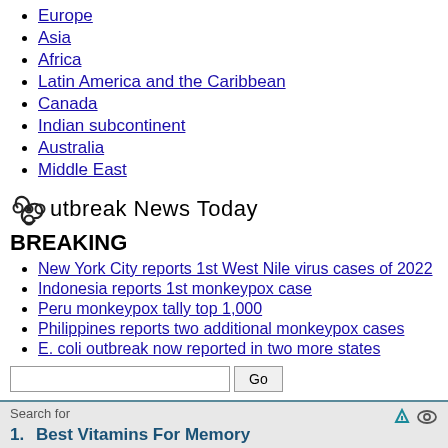Europe
Asia
Africa
Latin America and the Caribbean
Canada
Indian subcontinent
Australia
Middle East
[Figure (logo): Outbreak News Today logo with biohazard symbol]
BREAKING
New York City reports 1st West Nile virus cases of 2022
Indonesia reports 1st monkeypox case
Peru monkeypox tally top 1,000
Philippines reports two additional monkeypox cases
E. coli outbreak now reported in two more states
Search for
1. Best Vitamins For Memory
2. Turmeric Neuropathy